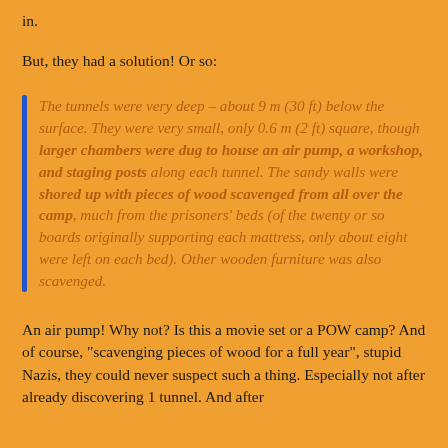in.
But, they had a solution! Or so:
The tunnels were very deep – about 9 m (30 ft) below the surface. They were very small, only 0.6 m (2 ft) square, though larger chambers were dug to house an air pump, a workshop, and staging posts along each tunnel. The sandy walls were shored up with pieces of wood scavenged from all over the camp, much from the prisoners' beds (of the twenty or so boards originally supporting each mattress, only about eight were left on each bed). Other wooden furniture was also scavenged.
An air pump! Why not? Is this a movie set or a POW camp? And of course, "scavenging pieces of wood for a full year", stupid Nazis, they could never suspect such a thing. Especially not after already discovering 1 tunnel. And after